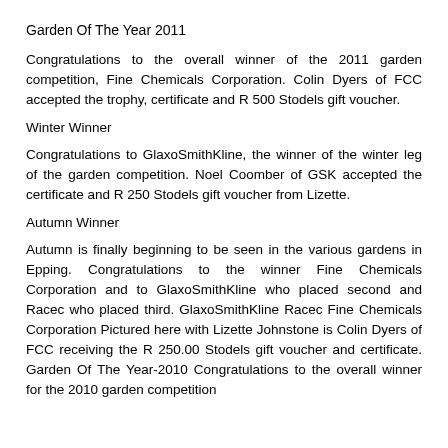Garden Of The Year 2011
Congratulations to the overall winner of the 2011 garden competition, Fine Chemicals Corporation. Colin Dyers of FCC accepted the trophy, certificate and R 500 Stodels gift voucher.
Winter Winner
Congratulations to GlaxoSmithKline, the winner of the winter leg of the garden competition. Noel Coomber of GSK accepted the certificate and R 250 Stodels gift voucher from Lizette.
Autumn Winner
Autumn is finally beginning to be seen in the various gardens in Epping. Congratulations to the winner Fine Chemicals Corporation and to GlaxoSmithKline who placed second and Racec who placed third. GlaxoSmithKline Racec Fine Chemicals Corporation Pictured here with Lizette Johnstone is Colin Dyers of FCC receiving the R 250.00 Stodels gift voucher and certificate. Garden Of The Year-2010 Congratulations to the overall winner for the 2010 garden competition